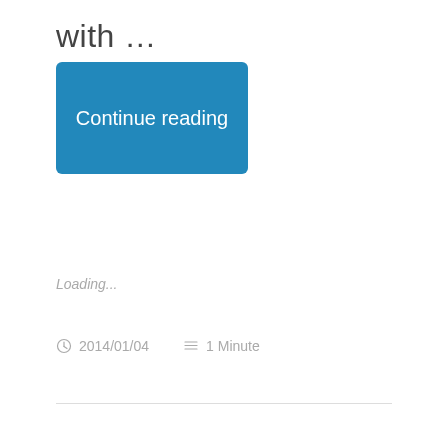with …
[Figure (other): Blue rounded rectangle button labeled 'Continue reading']
Loading...
2014/01/04   1 Minute